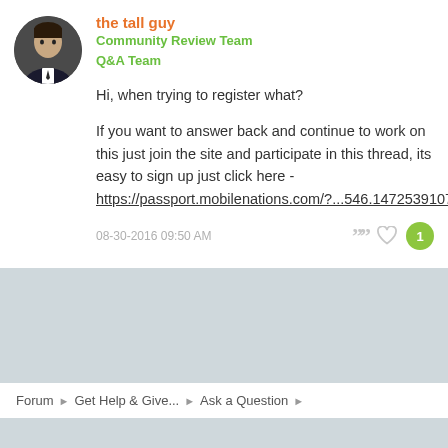[Figure (photo): Avatar photo of a man in a suit, circular crop]
the tall guy
Community Review Team
Q&A Team
Hi, when trying to register what?
If you want to answer back and continue to work on this just join the site and participate in this thread, its easy to sign up just click here - https://passport.mobilenations.com/?...546.1472539107
08-30-2016 09:50 AM
Forum › Get Help & Give... › Ask a Question ›